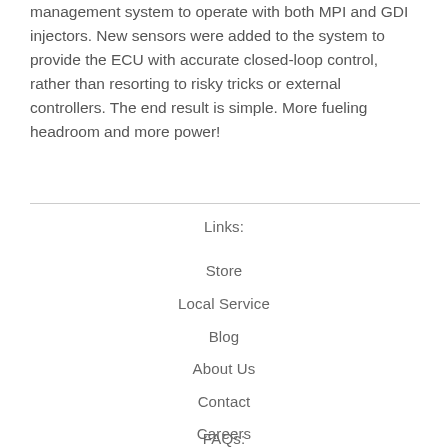management system to operate with both MPI and GDI injectors. New sensors were added to the system to provide the ECU with accurate closed-loop control, rather than resorting to risky tricks or external controllers. The end result is simple. More fueling headroom and more power!
Links:
Store
Local Service
Blog
About Us
Contact
Careers
FAQs: